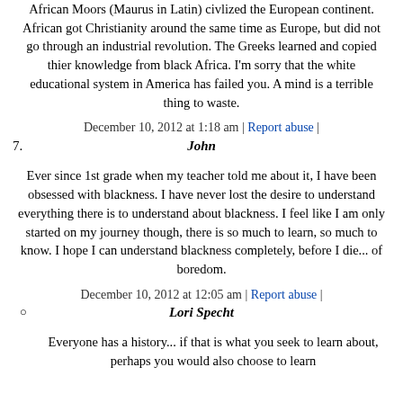African Moors (Maurus in Latin) civlized the European continent. African got Christianity around the same time as Europe, but did not go through an industrial revolution. The Greeks learned and copied thier knowledge from black Africa. I'm sorry that the white educational system in America has failed you. A mind is a terrible thing to waste.
December 10, 2012 at 1:18 am | Report abuse |
7. John
Ever since 1st grade when my teacher told me about it, I have been obsessed with blackness. I have never lost the desire to understand everything there is to understand about blackness. I feel like I am only started on my journey though, there is so much to learn, so much to know. I hope I can understand blackness completely, before I die... of boredom.
December 10, 2012 at 12:05 am | Report abuse |
Lori Specht
Everyone has a history... if that is what you seek to learn about, perhaps you would also choose to learn